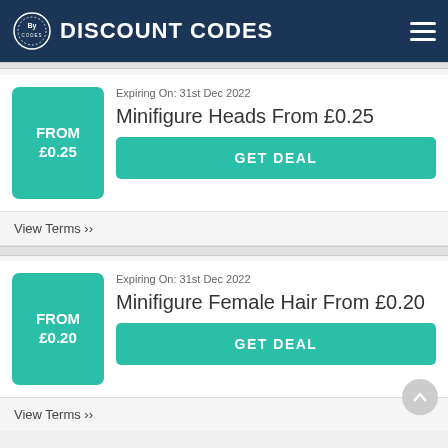DISCOUNT CODES
Expiring On: 31st Dec 2022
Minifigure Heads From £0.25
GET DEAL
View Terms
Expiring On: 31st Dec 2022
Minifigure Female Hair From £0.20
GET DEAL
View Terms